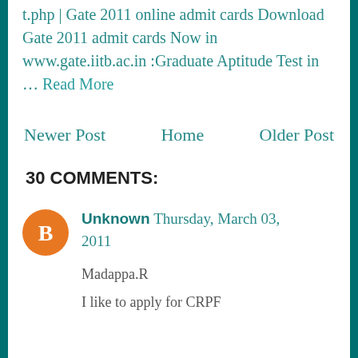t.php | Gate 2011 online admit cards Download Gate 2011 admit cards Now in www.gate.iitb.ac.in :Graduate Aptitude Test in … Read More
Newer Post    Home    Older Post
30 COMMENTS:
Unknown Thursday, March 03, 2011
Madappa.R

I like to apply for CRPF